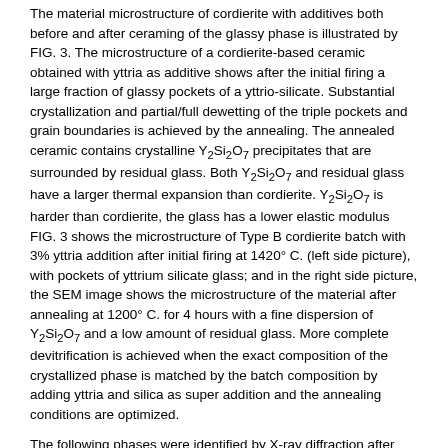The material microstructure of cordierite with additives both before and after ceraming of the glassy phase is illustrated by FIG. 3. The microstructure of a cordierite-based ceramic obtained with yttria as additive shows after the initial firing a large fraction of glassy pockets of a yttrio-silicate. Substantial crystallization and partial/full dewetting of the triple pockets and grain boundaries is achieved by the annealing. The annealed ceramic contains crystalline Y₂Si₂O₇ precipitates that are surrounded by residual glass. Both Y₂Si₂O₇ and residual glass have a larger thermal expansion than cordierite. Y₂Si₂O₇ is harder than cordierite, the glass has a lower elastic modulus FIG. 3 shows the microstructure of Type B cordierite batch with 3% yttria addition after initial firing at 1420° C. (left side picture), with pockets of yttrium silicate glass; and in the right side picture, the SEM image shows the microstructure of the material after annealing at 1200° C. for 4 hours with a fine dispersion of Y₂Si₂O₇ and a low amount of residual glass. More complete devitrification is achieved when the exact composition of the crystallized phase is matched by the batch composition by adding yttria and silica as super addition and the annealing conditions are optimized.
The following phases were identified by X-ray diffraction after annealing: (Mg, Al, Fe)-titanates, in batches with addition of titania or titania and alumina and/or iron oxide, (Y,Al)₂Si₂O₇ in batches with addition of yttria or yttria and silica or yttria and alumina, ZrSiO₄ in batches with addition of zirconia or zirconia and silica surrounding the precipitates.